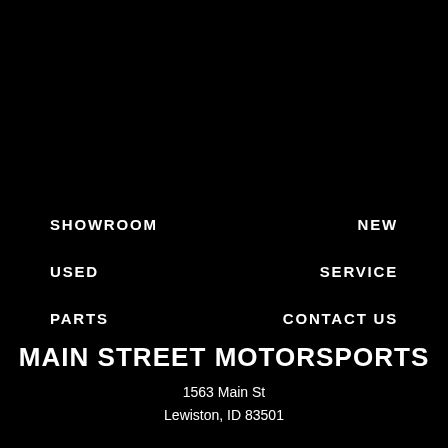SHOWROOM
NEW
USED
SERVICE
PARTS
CONTACT US
MAIN STREET MOTORSPORTS
1563 Main St
Lewiston, ID 83501